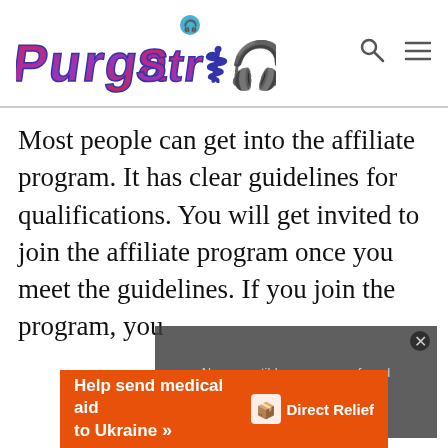Purga Streamer
Most people can get into the affiliate program. It has clear guidelines for qualifications. You will get invited to join the affiliate program once you meet the guidelines. If you join the program, you
[Figure (screenshot): Video player overlay showing 'No compatible source was found for this media.' message on dark background]
[Figure (infographic): Orange ad banner: 'Help send medical aid to Ukraine' with Direct Relief logo]